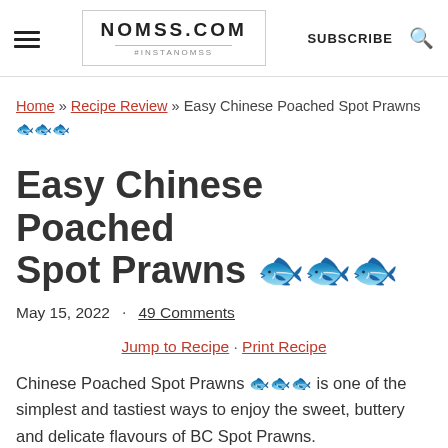NOMSS.COM #INSTANOMSS | SUBSCRIBE
Home » Recipe Review » Easy Chinese Poached Spot Prawns 🦐🦐🦐
Easy Chinese Poached Spot Prawns 🦐🦐🦐
May 15, 2022  ·  49 Comments
Jump to Recipe · Print Recipe
Chinese Poached Spot Prawns 🦐🦐🦐 is one of the simplest and tastiest ways to enjoy the sweet, buttery and delicate flavours of BC Spot Prawns.